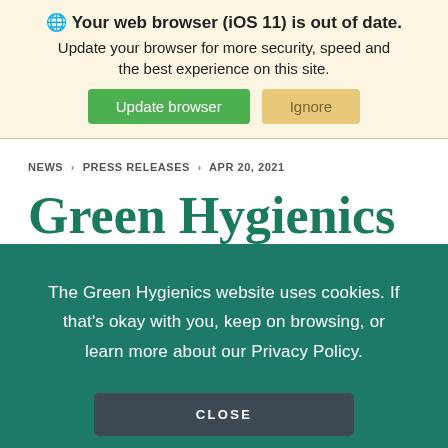🌐 Your web browser (iOS 11) is out of date. Update your browser for more security, speed and the best experience on this site.
Update browser | Ignore
NEWS > PRESS RELEASES > APR 20, 2021
Green Hygienics
The Green Hygienics website uses cookies. If that's okay with you, keep on browsing, or learn more about our Privacy Policy.
CLOSE